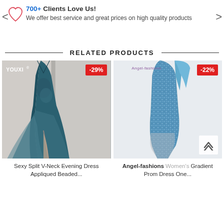700+ Clients Love Us! We offer best service and great prices on high quality products
RELATED PRODUCTS
[Figure (photo): Teal/dark blue sexy split V-neck evening dress with applique and beading, shown on a model in a fitting room. YOUXI brand badge top-left, -29% discount badge top-right.]
Sexy Split V-Neck Evening Dress Appliqued Beaded...
[Figure (photo): Gradient blue/silver sequin one-shoulder prom dress (mermaid style) on a white background. Angel-fashions logo top-left, -22% discount badge top-right. Scroll-to-top chevron button bottom-right.]
Angel-fashions Women's Gradient Prom Dress One...